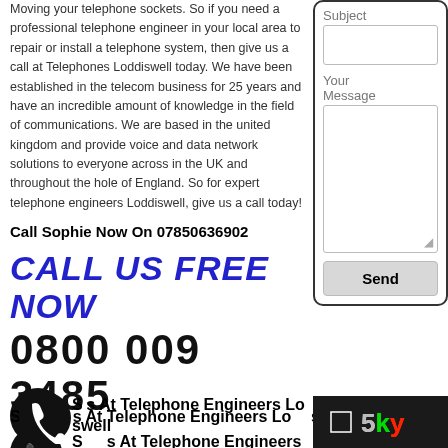Moving your telephone sockets. So if you need a professional telephone engineer in your local area to repair or install a telephone system, then give us a call at Telephones Loddiswell today. We have been established in the telecom business for 25 years and have an incredible amount of knowledge in the field of communications. We are based in the united kingdom and provide voice and data network solutions to everyone across in the UK and throughout the hole of England. So for expert telephone engineers Loddiswell, give us a call today!
Call Sophie Now On 07850636902
CALL US FREE NOW
0800 009 3485
Services At Telephone Engineers Loddiswell
[Figure (screenshot): Contact form with Subject field, Your Message textarea, and Send button, inside a rounded border]
[Figure (logo): Sky logo on dark background in bottom right corner]